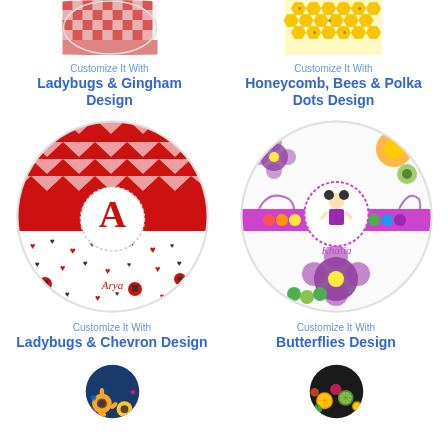[Figure (illustration): Decorative plate with ladybugs and red gingham/checkerboard design, partially cropped at top]
Customize It With
Ladybugs & Gingham Design
[Figure (illustration): Decorative plate with honeycomb, bees and polka dots design in yellow, partially cropped at top]
Customize It With
Honeycomb, Bees & Polka Dots Design
[Figure (illustration): Decorative plate with red chevron top and ladybugs/hearts bottom, letter A monogram, name Arya]
Customize It With
Ladybugs & Chevron Design
[Figure (illustration): Decorative plate with butterflies, flowers, girl cartoon, name Khalia, purple design]
Customize It With
Butterflies Design
[Figure (illustration): Decorative plate with sunflowers and bright floral design, partially visible at bottom]
[Figure (illustration): Decorative plate with citrus fruits slices on dark background, partially visible at bottom]